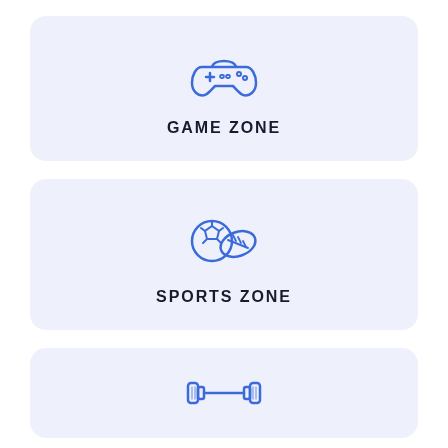[Figure (illustration): Game controller icon in blue outline style]
GAME ZONE
[Figure (illustration): Sports balls (soccer ball and american football) icon in blue outline style]
SPORTS ZONE
[Figure (illustration): Dumbbell / fitness weight icon in blue outline style]